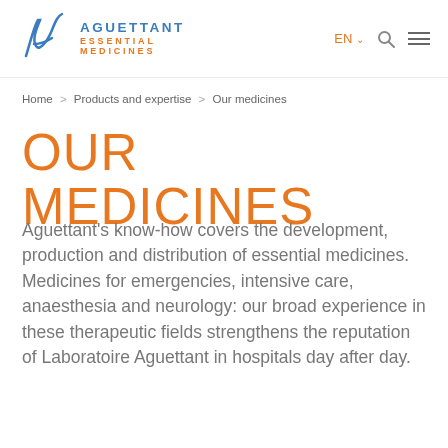[Figure (logo): Aguettant Essential Medicines logo with stylized A mark in blue and orange text]
EN ∨  🔍  ≡
Home > Products and expertise > Our medicines
OUR MEDICINES
Aguettant's know-how covers the development, production and distribution of essential medicines. Medicines for emergencies, intensive care, anaesthesia and neurology: our broad experience in these therapeutic fields strengthens the reputation of Laboratoire Aguettant in hospitals day after day.